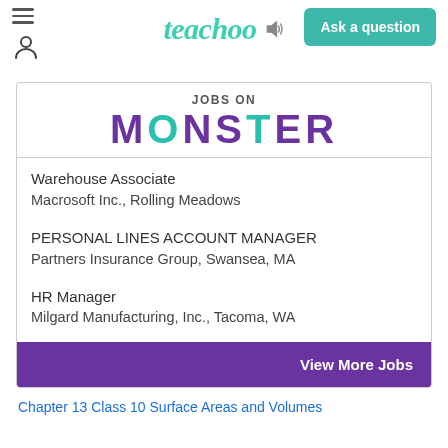teachoo — Ask a question
[Figure (screenshot): Teachoo website header with hamburger menu, teachoo logo, speaker icon, user icon, and 'Ask a question' teal button]
Jobs on MONSTER
Warehouse Associate
Macrosoft Inc., Rolling Meadows
PERSONAL LINES ACCOUNT MANAGER
Partners Insurance Group, Swansea, MA
HR Manager
Milgard Manufacturing, Inc., Tacoma, WA
View More Jobs
Chapter 13 Class 10 Surface Areas and Volumes